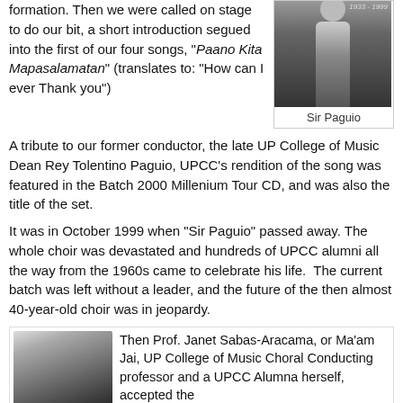formation. Then we were called on stage to do our bit, a short introduction segued into the first of our four songs, "Paano Kita Mapasasalamatan" (translates to: "How can I ever Thank you")
[Figure (photo): Black and white photo of Sir Paguio standing, full body shot with text overlay '1933-1999' at top right]
Sir Paguio
A tribute to our former conductor, the late UP College of Music Dean Rey Tolentino Paguio, UPCC's rendition of the song was featured in the Batch 2000 Millenium Tour CD, and was also the title of the set.
It was in October 1999 when "Sir Paguio" passed away. The whole choir was devastated and hundreds of UPCC alumni all the way from the 1960s came to celebrate his life.  The current batch was left without a leader, and the future of the then almost 40-year-old choir was in jeopardy.
[Figure (photo): Black and white portrait photo of Prof. Janet Sabas-Aracama (Ma'am Jai)]
Then Prof. Janet Sabas-Aracama, or Ma'am Jai, UP College of Music Choral Conducting professor and a UPCC Alumna herself, accepted the